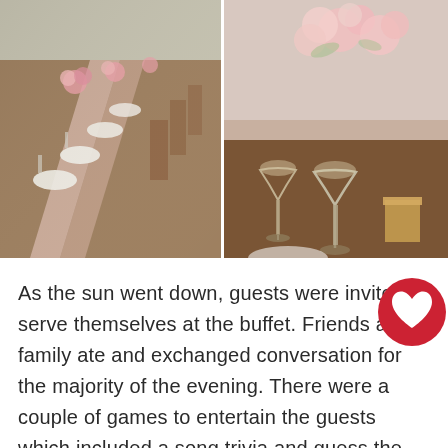[Figure (photo): Two wedding reception photos side by side. Left photo shows a long elegantly set banquet table with pink floral centerpieces, white plates, glassware, and wooden cross-back chairs outdoors. Right photo shows a close-up of wine glasses and a pink floral centerpiece on a wooden table.]
As the sun went down, guests were invited to serve themselves at the buffet. Friends and family ate and exchanged conversation for the majority of the evening. There were a couple of games to entertain the guests which included a song trivia and guess the baby photo game. Everyone also filled out cards to extend their well wishes and fun thoughts to the